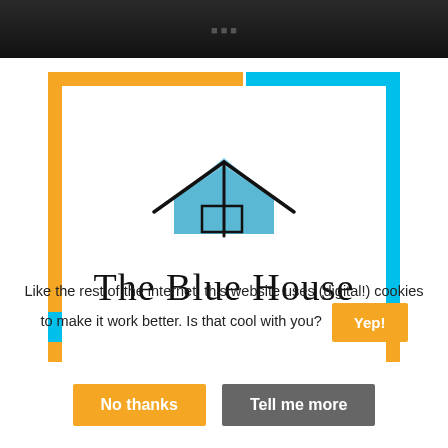[Figure (screenshot): Dark/black top image strip showing partial video or website header]
[Figure (logo): The Blue House logo: house illustration in blue with black outline lines, text 'The Blue House' in serif font, framed by orange and cyan border]
Like the rest of the internet, this website uses (digital!) cookies to make it work better. Is that cool with you?
No thanks   Tell me more   Yep!